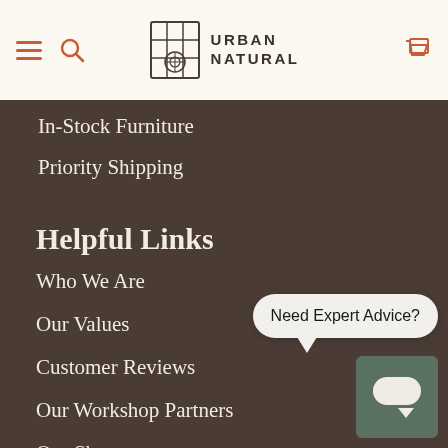URBAN NATURAL
In-Stock Furniture
Priority Shipping
Helpful Links
Who We Are
Our Values
Customer Reviews
Our Workshop Partners
Our Showroom
FAQs
Need Expert Advice?